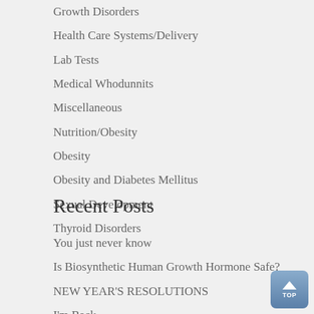Growth Disorders
Health Care Systems/Delivery
Lab Tests
Medical Whodunnits
Miscellaneous
Nutrition/Obesity
Obesity
Obesity and Diabetes Mellitus
Sexual Development
Thyroid Disorders
Recent Posts
You just never know
Is Biosynthetic Human Growth Hormone Safe?
NEW YEAR'S RESOLUTIONS
I'm Back